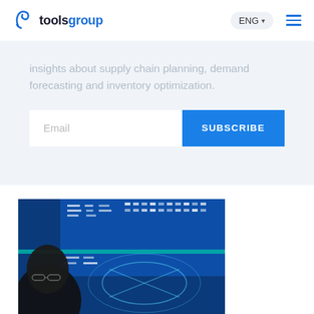toolsgroup — ENG menu
insights about supply chain planning, demand forecasting and inventory optimization.
Email  SUBSCRIBE
[Figure (photo): Person with glasses looking at blue data/analytics screens with glowing charts and network visualizations]